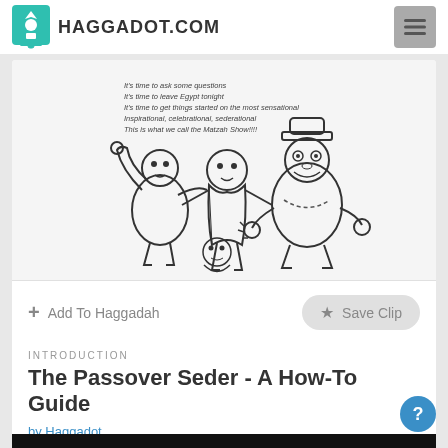HAGGADOT.COM
[Figure (illustration): Black and white cartoon illustration of Muppet-style characters (resembling Kermit the Frog, Fozzie Bear, and others) in a lively group pose. Above the characters is text reading: 'It's time to ask some questions / It's time to leave Egypt tonight / It's time to get things started on the most sensational inspirational, celebrational, sederational / This is what we call the Matzah Show!!!!']
Add To Haggadah
Save Clip
INTRODUCTION
The Passover Seder - A How-To Guide
by Haggadot